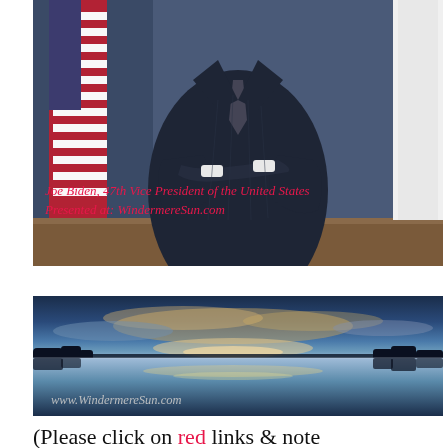[Figure (photo): Official portrait photo of Joe Biden in a dark pinstripe suit with arms crossed, American flag visible on the left, standing in front of a desk. An overlay caption reads: Joe Biden, 47th Vice President of the United States / Presented at: WindermereSun.com]
[Figure (photo): Panoramic landscape photo of a lake at dusk/sunset with dramatic blue and orange sky reflected in calm water, trees silhouetted on the horizon. Watermark text: www.WindermereSun.com]
(Please click on red links & note